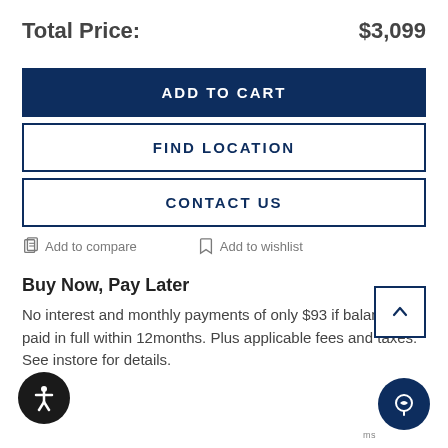Total Price: $3,099
ADD TO CART
FIND LOCATION
CONTACT US
Add to compare
Add to wishlist
Buy Now, Pay Later
No interest and monthly payments of only $93 if balance is paid in full within 12months. Plus applicable fees and taxes. See instore for details.